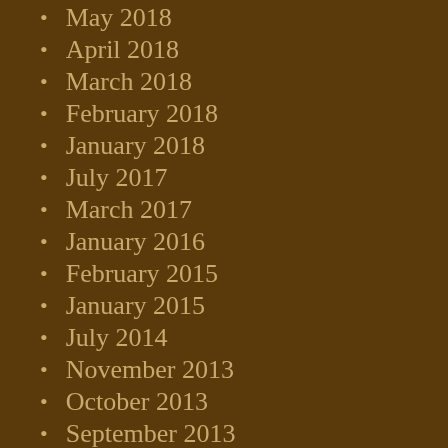May 2018
April 2018
March 2018
February 2018
January 2018
July 2017
March 2017
January 2016
February 2015
January 2015
July 2014
November 2013
October 2013
September 2013
July 2013
June 2013
January 2013